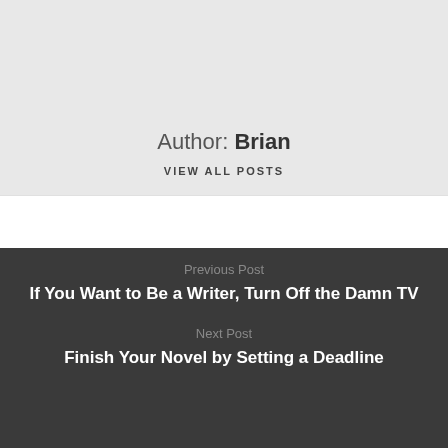[Figure (photo): Partial author avatar (circular portrait photo, cropped at top)]
Author: Brian
VIEW ALL POSTS
Previous Post
If You Want to Be a Writer, Turn Off the Damn TV
Next Post
Finish Your Novel by Setting a Deadline
[Figure (illustration): Yellow pencil illustration with pink eraser end on dark background]